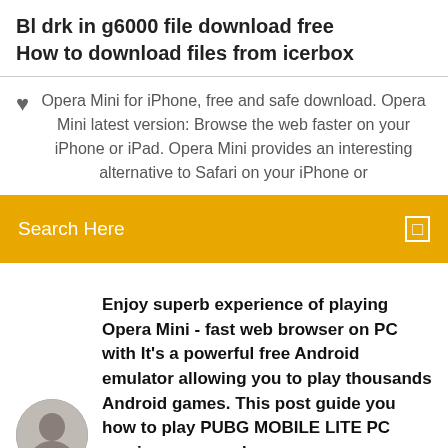Bl drk in g6000 file download free
How to download files from icerbox
Opera Mini for iPhone, free and safe download. Opera Mini latest version: Browse the web faster on your iPhone or iPad. Opera Mini provides an interesting alternative to Safari on your iPhone or
[Figure (screenshot): Orange search bar with text 'Search Here' and a small icon on the right]
Enjoy superb experience of playing Opera Mini - fast web browser on PC with It's a powerful free Android emulator allowing you to play thousands Android games. This post guide you how to play PUBG MOBILE LITE PC version,come and
Opera Mini Apk 16.0.2168.1029 Download [Latest Version] Is Free Here. Try one of the world's fastest browsers for android the f...